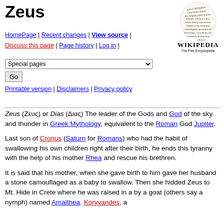Zeus
[Figure (illustration): Wikipedia logo with circular text reading about knowledge and reason, along with the Wikipedia wordmark and tagline 'The Free Encyclopedia']
HomePage | Recent changes | View source | Discuss this page | Page history | Log in | Special pages [dropdown] Go
Printable version | Disclaimers | Privacy policy
Zeus (Ζευς) or Dias (Διας) The leader of the Gods and God of the sky and thunder in Greek Mythology, equivalent to the Roman God Jupiter.
Last son of Cronus (Saturn for Romans) who had the habit of swallowing his own children right after their birth, he ends this tyranny with the help of his mother Rhea and rescue his brethren.
It is said that his mother, when she gave birth to him gave her husband a stone camouflaged as a baby to swallow. Then she hidded Zeus to Mt. Hide in Crete where he was raised in a by a goat (others say a nymph) named Amalthea. Koryvandes, a